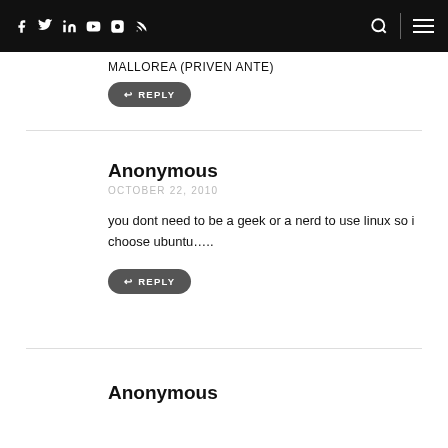Social media icons, search and menu navigation bar
MALLOREA (PRIVEN ANTE)
↩ REPLY
Anonymous
OCTOBER 22, 2010
you dont need to be a geek or a nerd to use linux so i choose ubuntu…..
↩ REPLY
Anonymous